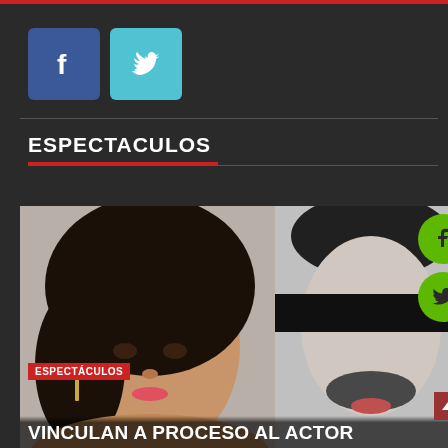[Figure (screenshot): Facebook social share button - dark blue square with white f logo]
[Figure (screenshot): Twitter social share button - cyan/teal square with white bird logo]
ESPECTACULOS
[Figure (photo): Article thumbnail image split in two: left side shows a Latina woman with long dark hair, wearing earrings, looking at camera against grey background; right side shows a man with dark hair and beard, identity obscured by a black bar over his eyes, black and white photo. ESPECTACULOS red tag label overlaid bottom left. Green circular Facebook and Twitter floating icons on right side. Article title text 'VINCULAN A PROCESO AL ACTOR' at bottom.]